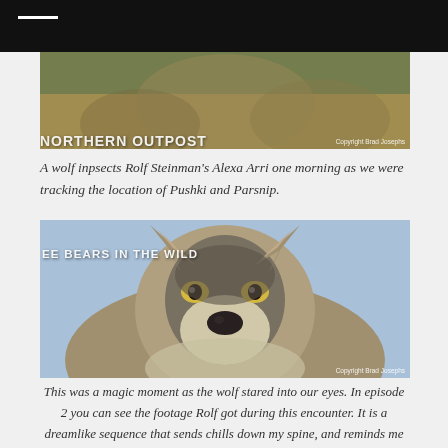[Figure (photo): Partial wolf photo at top with greenish/grass background, partially cropped. Copyright Brad Josephs watermark visible.]
A wolf inpsects Rolf Steinman's Alexa Arri one morning as we were tracking the location of Pushki and Parsnip.
[Figure (photo): Close-up portrait of a wolf staring directly into the camera, with blue sky background. Copyright Brad Josephs watermark.]
This was a magic moment as the wolf stared into our eyes. In episode 2 you can see the footage Rolf got during this encounter. It is a dreamlike sequence that sends chills down my spine, and reminds me of my all time favorite movie, Never Cry Wolf.